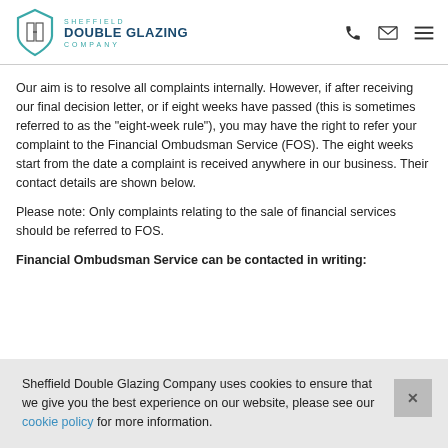Sheffield Double Glazing Company
Our aim is to resolve all complaints internally. However, if after receiving our final decision letter, or if eight weeks have passed (this is sometimes referred to as the "eight-week rule"), you may have the right to refer your complaint to the Financial Ombudsman Service (FOS). The eight weeks start from the date a complaint is received anywhere in our business. Their contact details are shown below.
Please note: Only complaints relating to the sale of financial services should be referred to FOS.
Financial Ombudsman Service can be contacted in writing:
Sheffield Double Glazing Company uses cookies to ensure that we give you the best experience on our website, please see our cookie policy for more information.